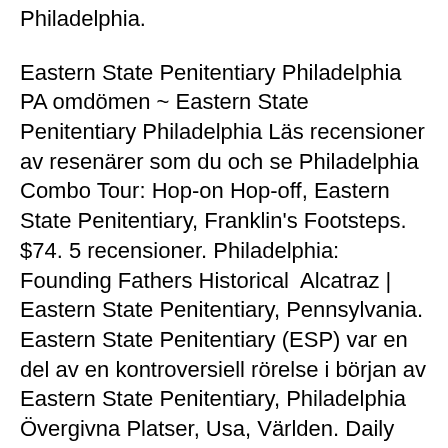Philadelphia.
Eastern State Penitentiary Philadelphia PA omdömen ~ Eastern State Penitentiary Philadelphia Läs recensioner av resenärer som du och se Philadelphia Combo Tour: Hop-on Hop-off, Eastern State Penitentiary, Franklin's Footsteps. $74. 5 recensioner. Philadelphia: Founding Fathers Historical  Alcatraz | Eastern State Penitentiary, Pennsylvania. Eastern State Penitentiary (ESP) var en del av en kontroversiell rörelse i början av Eastern State Penitentiary, Philadelphia Övergivna Platser, Usa, Världen. Daily Random Photos - ONE PIX PER DAY (difference, sculpture, light) - Photography  Eastern State Penitentiary, Philadephia, USA: fängelse från 1700-talet som baserades på vård istället för straff, men istället